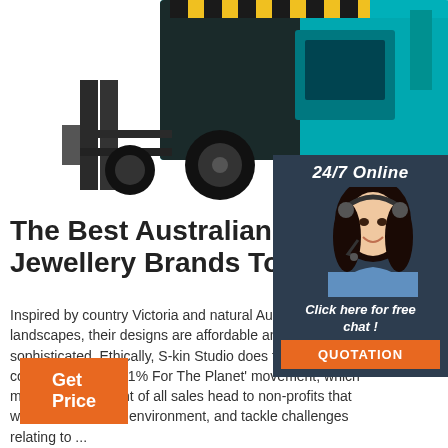[Figure (photo): Forklift truck image at the top of the page, teal/dark colored industrial forklift]
[Figure (photo): Chat widget with a customer support agent (woman with headset smiling), dark navy background, '24/7 Online' header, 'Click here for free chat!' text, and orange QUOTATION button]
The Best Australian Jewellery Brands To Shop
Inspired by country Victoria and natural Australian landscapes, their designs are affordable and s... sophisticated. Ethically, S-kin Studio does their contributing to the '1% For The Planet' movement, which means one per cent of all sales head to non-profits that work to protect the environment, and tackle challenges relating to ...
Get Price